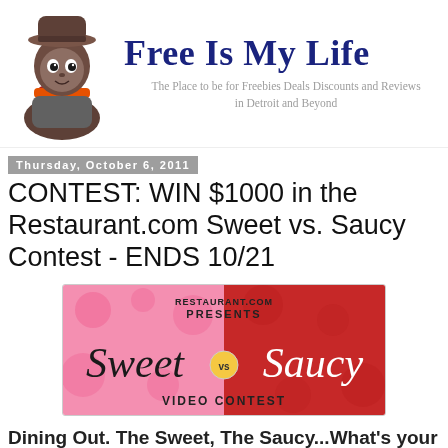[Figure (logo): Free Is My Life website header banner with cartoon mascot character and site title and subtitle]
Thursday, October 6, 2011
CONTEST: WIN $1000 in the Restaurant.com Sweet vs. Saucy Contest - ENDS 10/21
[Figure (photo): Restaurant.com presents Sweet vs Saucy Video Contest promotional image with pink and red background]
Dining Out. The Sweet, The Saucy...What's your story?